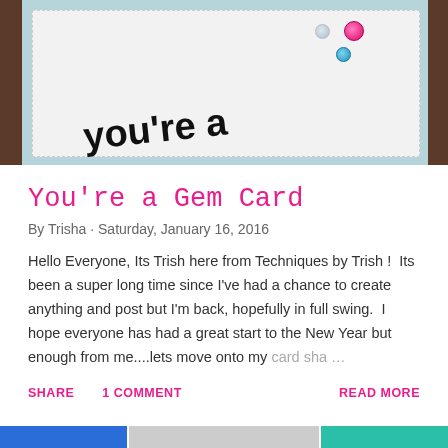[Figure (photo): Photo of a handmade greeting card on a wooden surface. The card has a light blue border and white center with decorative gems (clear, pink, blue) and handwritten text 'you're a' in black script.]
You're a Gem Card
By Trisha · Saturday, January 16, 2016
Hello Everyone, Its Trish here from Techniques by Trish !  Its been a super long time since I've had a chance to create anything and post but I'm back, hopefully in full swing.  I hope everyone has had a great start to the New Year but enough from me....lets move onto my card sha…
SHARE   1 COMMENT   READ MORE